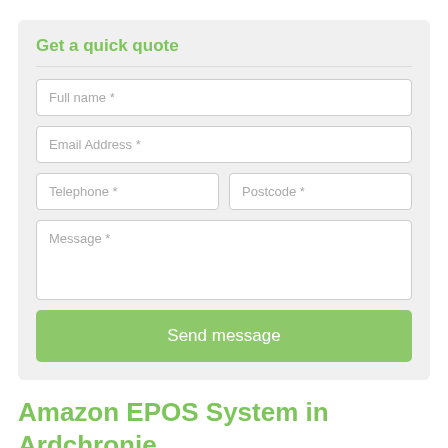Get a quick quote
Full name *
Email Address *
Telephone *
Postcode *
Message *
Send message
Amazon EPOS System in Ardchronie